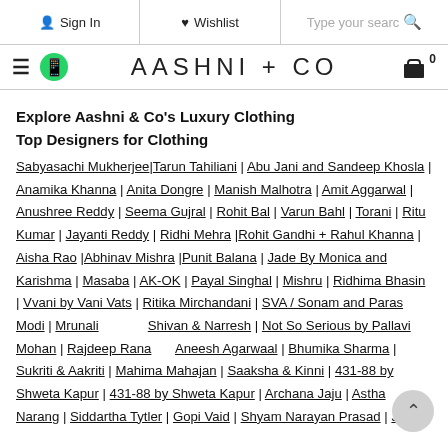Sign In | Wishlist | Type your search
[Figure (logo): Aashni + Co logo with hamburger menu, WhatsApp icon, and cart icon showing 0 items]
Explore Aashni & Co's Luxury Clothing
Top Designers for Clothing
Sabyasachi Mukherjee|Tarun Tahiliani | Abu Jani and Sandeep Khosla | Anamika Khanna | Anita Dongre | Manish Malhotra | Amit Aggarwal | Anushree Reddy | Seema Gujral | Rohit Bal | Varun Bahl | Torani | Ritu Kumar | Jayanti Reddy | Ridhi Mehra |Rohit Gandhi + Rahul Khanna | Aisha Rao |Abhinav Mishra |Punit Balana | Jade By Monica and Karishma | Masaba | AK-OK | Payal Singhal | Mishru | Ridhima Bhasin | Vvani by Vani Vats | Ritika Mirchandani | SVA / Sonam and Paras Modi | Mrunalini Shivan & Narresh | Not So Serious by Pallavi Mohan | Rajdeep Ranawat | Aneesh Agarwaal | Bhumika Sharma | Sukriti & Aakriti | Mahima Mahajan | Saaksha & Kinni | 431-88 by Shweta Kapur | 431-88 by Shweta Kapur | Archana Jaju | Astha Narang | Siddartha Tytler | Gopi Vaid | Shyam Narayan Prasad | Just Shradha's | Just Jewelry | Moh-Maya by Disha Khatri | Ritika Sachdeva...